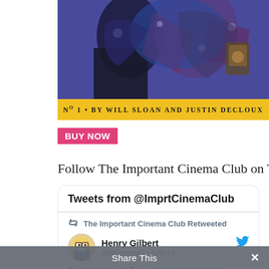[Figure (illustration): Comic book cover illustration with figures in blue and purple tones on yellow background, titled 'No 1 • BY WILL SLOAN AND JUSTIN DECLOUX']
BUY NOW
Follow The Important Cinema Club on Twitter
[Figure (screenshot): Twitter widget showing 'Tweets from @ImprtCinemaClub'. Contains a retweet by The Important Cinema Club of Henry Gilbert (@hEnereyG · Aug 24) with text 'A week early on Pa... @AllSimpsonsPod welcomes back @WillSloanFan from...']
Share This